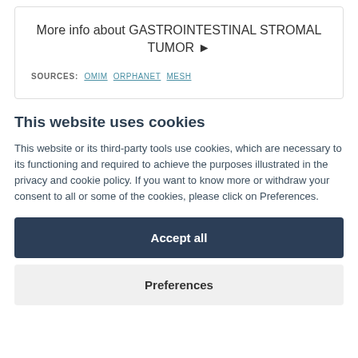More info about GASTROINTESTINAL STROMAL TUMOR ▶
SOURCES: OMIM  ORPHANET  MESH
This website uses cookies
This website or its third-party tools use cookies, which are necessary to its functioning and required to achieve the purposes illustrated in the privacy and cookie policy. If you want to know more or withdraw your consent to all or some of the cookies, please click on Preferences.
Accept all
Preferences